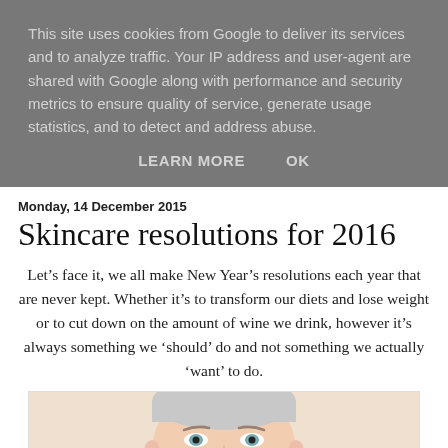This site uses cookies from Google to deliver its services and to analyze traffic. Your IP address and user-agent are shared with Google along with performance and security metrics to ensure quality of service, generate usage statistics, and to detect and address abuse.
LEARN MORE   OK
Monday, 14 December 2015
Skincare resolutions for 2016
Let’s face it, we all make New Year’s resolutions each year that are never kept. Whether it’s to transform our diets and lose weight or to cut down on the amount of wine we drink, however it’s always something we ‘should’ do and not something we actually ‘want’ to do.
[Figure (photo): A woman's face with clear skin, light makeup, looking forward against a light peach/beige background.]